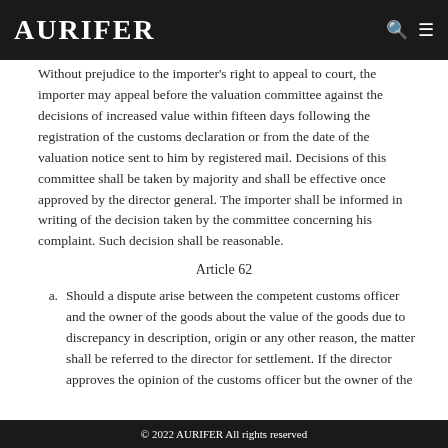AURIFER
Without prejudice to the importer's right to appeal to court, the importer may appeal before the valuation committee against the decisions of increased value within fifteen days following the registration of the customs declaration or from the date of the valuation notice sent to him by registered mail. Decisions of this committee shall be taken by majority and shall be effective once approved by the director general. The importer shall be informed in writing of the decision taken by the committee concerning his complaint. Such decision shall be reasonable.
Article 62
Should a dispute arise between the competent customs officer and the owner of the goods about the value of the goods due to discrepancy in description, origin or any other reason, the matter shall be referred to the director for settlement. If the director approves the opinion of the customs officer but the owner of the
© 2022 AURIFER All rights reserved